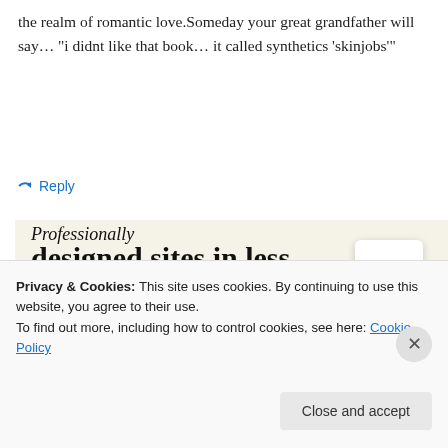the realm of romantic love.Someday your great grandfather will say… “i didnt like that book… it called synthetics ‘skinjobs’”
➜ Reply
[Figure (illustration): Advertisement banner with beige background. Text reads 'Professionally designed sites in less than a week' with a green 'Explore options' button and website mockup screenshots on the right.]
Privacy & Cookies: This site uses cookies. By continuing to use this website, you agree to their use.
To find out more, including how to control cookies, see here: Cookie Policy
Close and accept